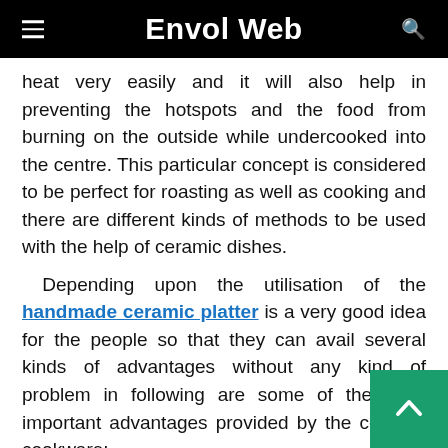Envol Web
heat very easily and it will also help in preventing the hotspots and the food from burning on the outside while undercooked into the centre. This particular concept is considered to be perfect for roasting as well as cooking and there are different kinds of methods to be used with the help of ceramic dishes.
Depending upon the utilisation of the handmade ceramic platter is a very good idea for the people so that they can avail several kinds of advantages without any kind of problem in following are some of the most important advantages provided by the ceramic cookware:
It is very much versatile: One of the most